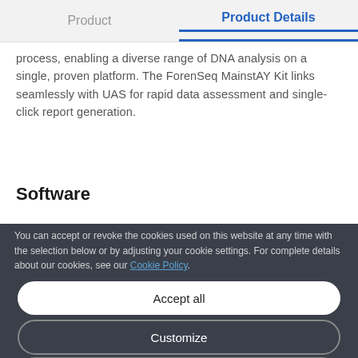Product   Product Details
process, enabling a diverse range of DNA analysis on a single, proven platform. The ForenSeq MainstAY Kit links seamlessly with UAS for rapid data assessment and single-click report generation.
Software
You can accept or revoke the cookies used on this website at any time with the selection below or by adjusting your cookie settings. For complete details about our cookies, see our Cookie Policy.